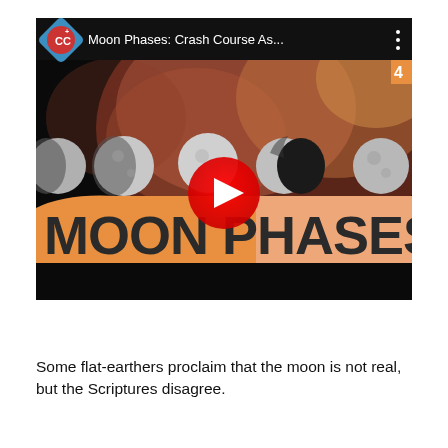[Figure (screenshot): YouTube video thumbnail for 'Moon Phases: Crash Course As...' showing a space nebula background with moon phases illustrated across the middle, an orange/pink banner reading 'MOON PHASES' in large bold text, a red YouTube play button in the center, and the CrashCourse CC logo in the top-left corner.]
Some flat-earthers proclaim that the moon is not real, but the Scriptures disagree.